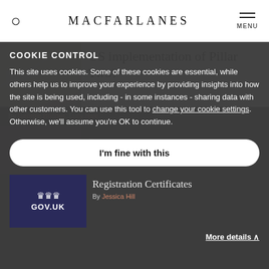MACFARLANES
[Figure (photo): Book or document pages photograph thumbnail]
US implementation of Pillar Two?
By Georgie Bridges, Lucy Hale
COOKIE CONTROL
This site uses cookies. Some of these cookies are essential, while others help us to improve your experience by providing insights into how the site is being used, including - in some instances - sharing data with other customers. You can use this tool to change your cookie settings. Otherwise, we'll assume you're OK to continue.
I'm fine with this
Registration Certificates
By Jessica Hill
More details